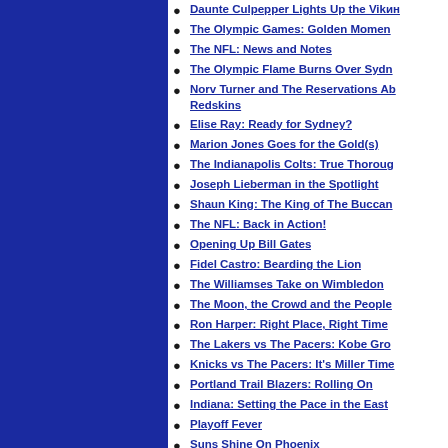Daunte Culpepper Lights Up the Vikings
The Olympic Games: Golden Moments
The NFL: News and Notes
The Olympic Flame Burns Over Sydney
Norv Turner and The Reservations About the Redskins
Elise Ray: Ready for Sydney?
Marion Jones Goes for the Gold(s)
The Indianapolis Colts: True Thoroughbreds
Joseph Lieberman in the Spotlight
Shaun King: The King of The Buccaneers
The NFL: Back in Action!
Opening Up Bill Gates
Fidel Castro: Bearding the Lion
The Williamses Take on Wimbledon
The Moon, the Crowd and the People
Ron Harper: Right Place, Right Time
The Lakers vs The Pacers: Kobe Grows Up
Knicks vs The Pacers: It's Miller Time
Portland Trail Blazers: Rolling On
Indiana: Setting the Pace in the East
Playoff Fever
Suns Shine On Phoenix
The Knicks: Knocking on the Door Again
Making Magic
Scoreless in Seattle?